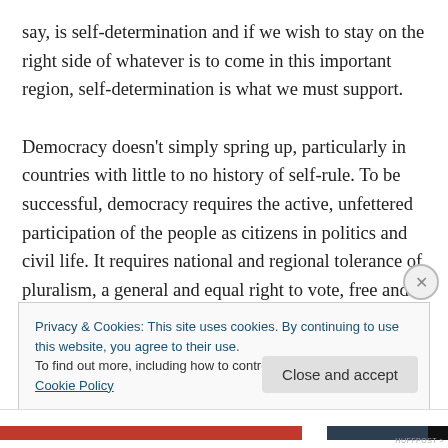say, is self-determination and if we wish to stay on the right side of whatever is to come in this important region, self-determination is what we must support.

Democracy doesn't simply spring up, particularly in countries with little to no history of self-rule. To be successful, democracy requires the active, unfettered participation of the people as citizens in politics and civil life. It requires national and regional tolerance of pluralism, a general and equal right to vote, free and fair elections, the rule of law, unbiased courts, a guarantee of basic
Privacy & Cookies: This site uses cookies. By continuing to use this website, you agree to their use.
To find out more, including how to control cookies, see here: Cookie Policy
Close and accept